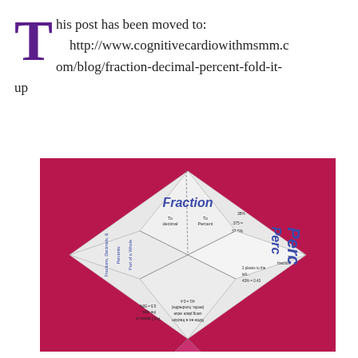This post has been moved to: http://www.cognitivecardiowithmsmm.com/blog/fraction-decimal-percent-fold-it-up
[Figure (photo): A paper origami cootie catcher (fortune teller) on a pink/magenta background. The folded paper has 'Fraction' written on the top flap, 'Percent' on the right flap, and text about fractions, decimals, and percents on various sections including 'To decimal', 'To Percent', 'To Fraction', conversion steps and examples like '37.5%', '0.43', '50%'.]